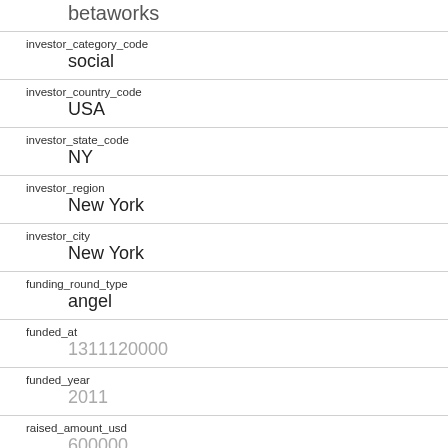betaworks
investor_category_code
social
investor_country_code
USA
investor_state_code
NY
investor_region
New York
investor_city
New York
funding_round_type
angel
funded_at
1311120000
funded_year
2011
raised_amount_usd
600000
gristHelper_Display2
/company/lascaux-co